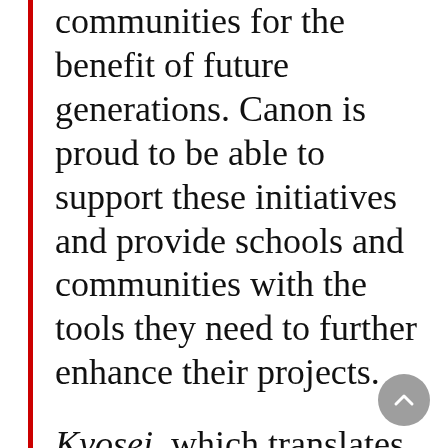communities for the benefit of future generations. Canon is proud to be able to support these initiatives and provide schools and communities with the tools they need to further enhance their projects.
Kyosei, which translates to 'working together for the common good' is our